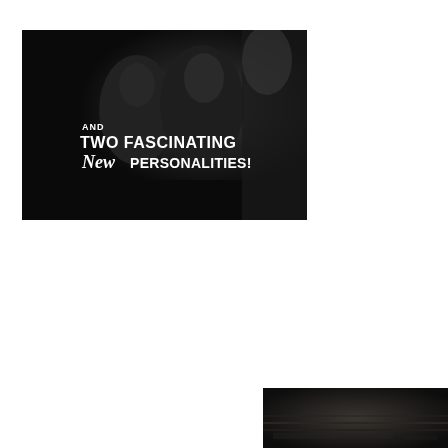[Figure (photo): Black and white film still showing two women in dark clothing standing in a dimly lit setting. Overlaid white text reads: 'AND TWO FASCINATING New PERSONALITIES!' in bold condensed and italic script fonts.]
[Figure (photo): Partial black and white film still visible at the bottom-right corner of the page, showing a dark outdoor or street scene.]